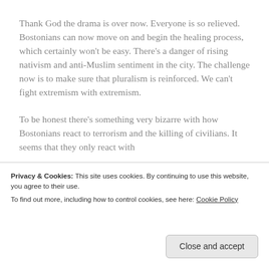Thank God the drama is over now. Everyone is so relieved. Bostonians can now move on and begin the healing process, which certainly won't be easy. There's a danger of rising nativism and anti-Muslim sentiment in the city. The challenge now is to make sure that pluralism is reinforced. We can't fight extremism with extremism.
To be honest there's something very bizarre with how Bostonians react to terrorism and the killing of civilians. It seems that they only react with
Privacy & Cookies: This site uses cookies. By continuing to use this website, you agree to their use.
To find out more, including how to control cookies, see here: Cookie Policy
Close and accept
hands of American drones? Is American life more